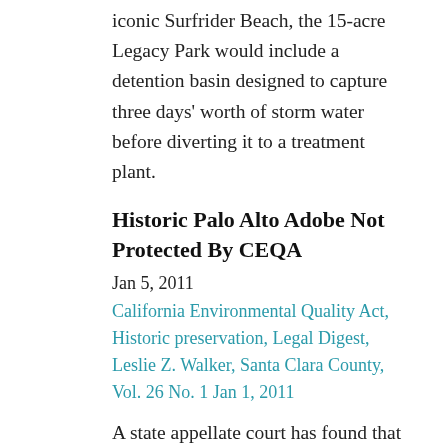iconic Surfrider Beach, the 15-acre Legacy Park would include a detention basin designed to capture three days' worth of storm water before diverting it to a treatment plant.
Historic Palo Alto Adobe Not Protected By CEQA
Jan 5, 2011
California Environmental Quality Act, Historic preservation, Legal Digest, Leslie Z. Walker, Santa Clara County, Vol. 26 No. 1 Jan 1, 2011
A state appellate court has found that a provision of the Palo Alto municipal code requiring a 60-day delay prior to the issuance of a demolition permit did not render the permit approval a discretionary act requiring environmental review. The city properly treated the demolition permit as ministerial and exempt from the California Environmental Quality Act (CEQA), the